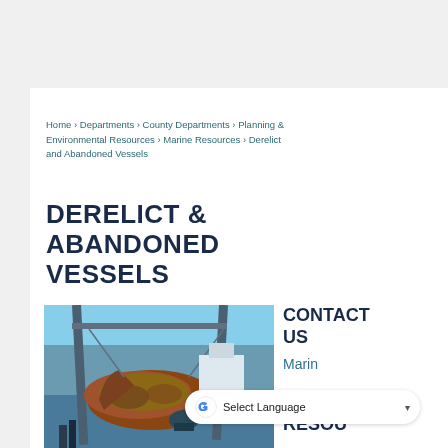Home › Departments › County Departments › Planning & Environmental Resources › Marine Resources › Derelict and Abandoned Vessels
DERELICT & ABANDONED VESSELS
[Figure (photo): A heavily corroded and barnacle-covered derelict boat being lifted by a crane in a marina. The vessel shows extensive rust and marine growth on its hull, suspended by crane equipment with blue sky and other boats visible in the background.]
CONTACT US
Marin
Resou